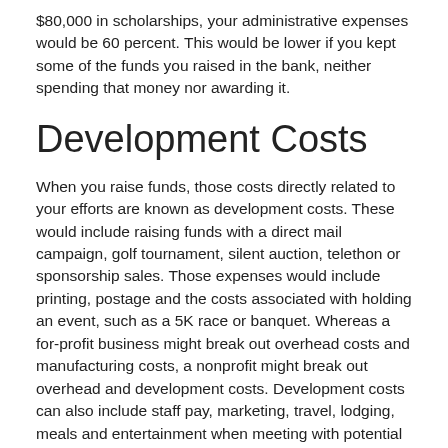$80,000 in scholarships, your administrative expenses would be 60 percent. This would be lower if you kept some of the funds you raised in the bank, neither spending that money nor awarding it.
Development Costs
When you raise funds, those costs directly related to your efforts are known as development costs. These would include raising funds with a direct mail campaign, golf tournament, silent auction, telethon or sponsorship sales. Those expenses would include printing, postage and the costs associated with holding an event, such as a 5K race or banquet. Whereas a for-profit business might break out overhead costs and manufacturing costs, a nonprofit might break out overhead and development costs. Development costs can also include staff pay, marketing, travel, lodging, meals and entertainment when meeting with potential donors, seminars and training for fundraising staff and any office expenses associated with development.